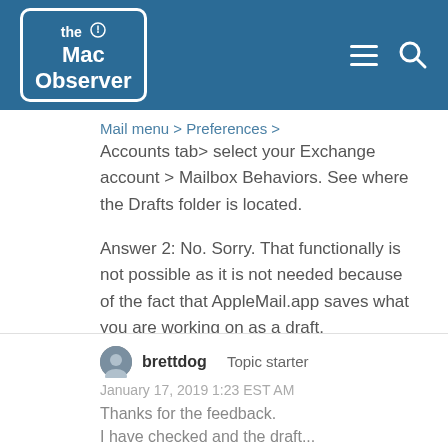[Figure (logo): The Mac Observer logo in white text inside a rounded rectangle border on a blue header background, with hamburger menu and search icons on the right]
Mail menu > Preferences > Accounts tab> select your Exchange account > Mailbox Behaviors. See where the Drafts folder is located.
Answer 2: No. Sorry. That functionally is not possible as it is not needed because of the fact that AppleMail.app saves what you are working on as a draft.
brettdog   Topic starter
January 17, 2019 1:23 EST AM
Thanks for the feedback. I have checked and the draft...